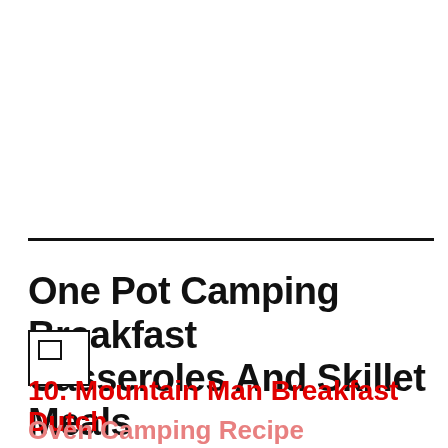One Pot Camping Breakfast Casseroles And Skillet Meals
10. Mountain Man Breakfast Dutch
Oven Camping Recipe